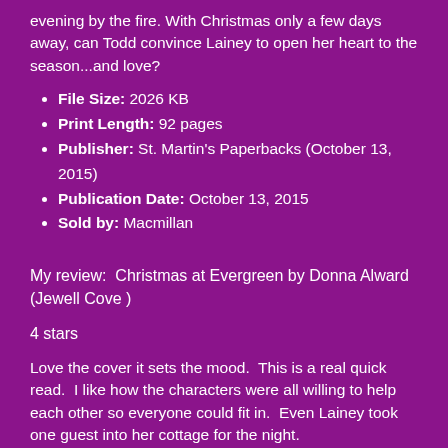evening by the fire. With Christmas only a few days away, can Todd convince Lainey to open her heart to the season...and love?
File Size: 2026 KB
Print Length: 92 pages
Publisher: St. Martin's Paperbacks (October 13, 2015)
Publication Date: October 13, 2015
Sold by: Macmillan
My review:  Christmas at Evergreen by Donna Alward (Jewell Cove )
4 stars
Love the cover it sets the mood.  This is a real quick read.  I like how the characters were all willing to help each other so everyone could fit in.  Even Lainey took one guest into her cottage for the night.